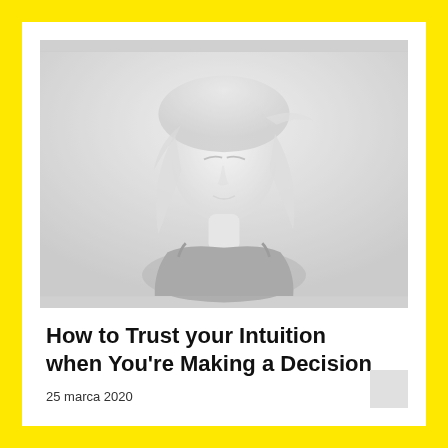[Figure (photo): Grayscale/desaturated photo of a young woman with light hair blowing in wind, eyes closed, looking slightly upward, wearing a dark top. The image is high-key and faded/bleached in tone.]
How to Trust your Intuition when You're Making a Decision
25 marca 2020